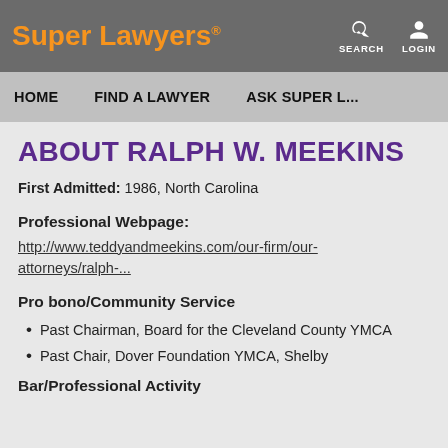Super Lawyers   SEARCH   LOGIN
HOME   FIND A LAWYER   ASK SUPER L...
ABOUT RALPH W. MEEKINS
First Admitted: 1986, North Carolina
Professional Webpage:
http://www.teddyandmeekins.com/our-firm/our-attorneys/ralph-...
Pro bono/Community Service
Past Chairman, Board for the Cleveland County YMCA
Past Chair, Dover Foundation YMCA, Shelby
Bar/Professional Activity